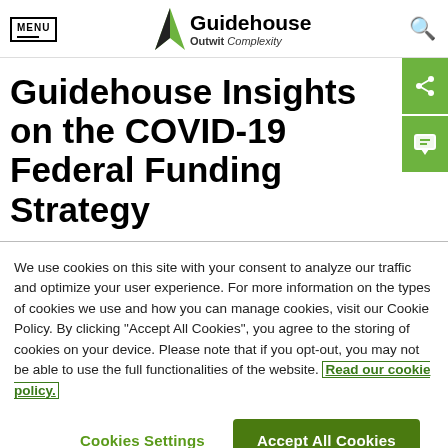MENU | Guidehouse Outwit Complexity
Guidehouse Insights on the COVID-19 Federal Funding Strategy
We use cookies on this site with your consent to analyze our traffic and optimize your user experience. For more information on the types of cookies we use and how you can manage cookies, visit our Cookie Policy. By clicking "Accept All Cookies", you agree to the storing of cookies on your device. Please note that if you opt-out, you may not be able to use the full functionalities of the website. Read our cookie policy.
Cookies Settings | Accept All Cookies